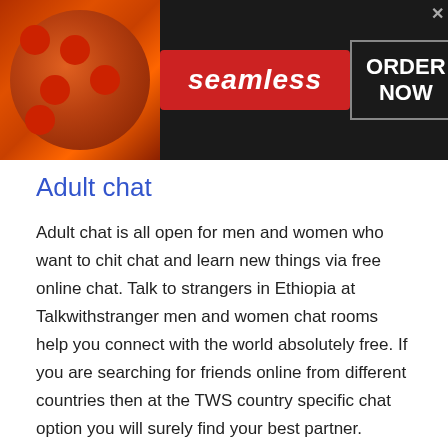[Figure (screenshot): Seamless food delivery advertisement banner with pizza image on left, red Seamless logo in center, ORDER NOW button on right, on dark background]
Adult chat
Adult chat is all open for men and women who want to chit chat and learn new things via free online chat. Talk to strangers in Ethiopia at Talkwithstranger men and women chat rooms help you connect with the world absolutely free. If you are searching for friends online from different countries then at the TWS country specific chat option you will surely find your best partner.
[Figure (screenshot): Amazon advertisement banner with Amazon logo, title 'Amazon.com: Online Shopping for Everyone', subtitle text, and blue circular arrow button]